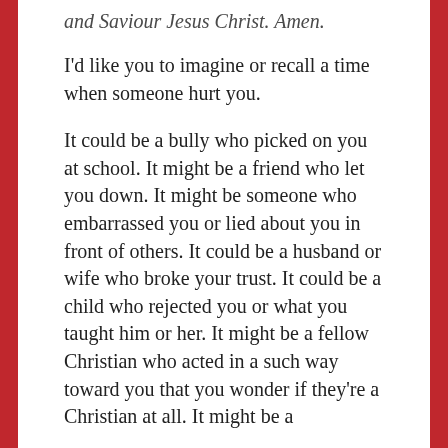and Saviour Jesus Christ. Amen.
I'd like you to imagine or recall a time when someone hurt you.
It could be a bully who picked on you at school. It might be a friend who let you down. It might be someone who embarrassed you or lied about you in front of others. It could be a husband or wife who broke your trust. It could be a child who rejected you or what you taught him or her. It might be a fellow Christian who acted in a such way toward you that you wonder if they're a Christian at all. It might be a